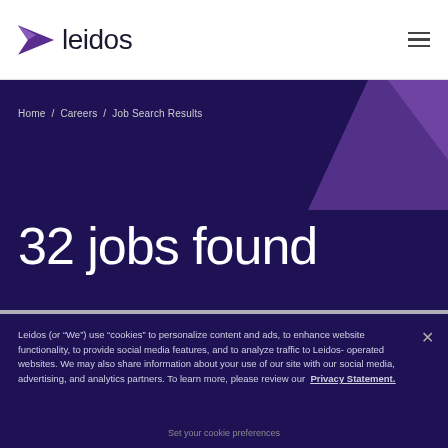leidos
Home / Careers / Job Search Results
32 jobs found
Leidos (or “We”) use “cookies” to personalize content and ads, to enhance website functionality, to provide social media features, and to analyze traffic to Leidos-operated websites. We may also share information about your use of our site with our social media, advertising, and analytics partners. To learn more, please review our Privacy Statement.
Set your cookie preferences